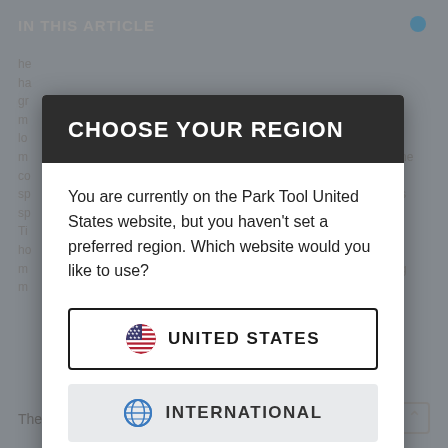IN THIS ARTICLE
CHOOSE YOUR REGION
You are currently on the Park Tool United States website, but you haven't set a preferred region. Which website would you like to use?
UNITED STATES
INTERNATIONAL
The rim manufacturers determine the amount